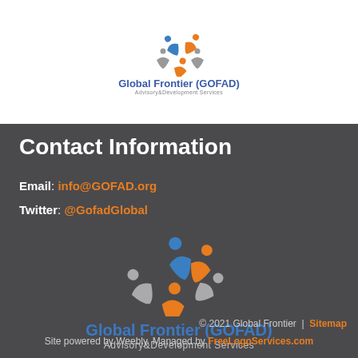[Figure (logo): Global Frontier (GOFAD) logo with colorful figures arranged in a circle, company name and tagline 'Advisory&Development Services']
Contact Information
Email: info@GOFAD.org
Twitter: @GofadGlobal
[Figure (logo): Large Global Frontier (GOFAD) logo with colorful figures, text 'Global Frontier (GOFAD)' and subtitle 'Advisory&Development Services']
© 2021 Global Frontier | Sitemap
Site powered by Weebly. Managed by FreeLogoServices.com